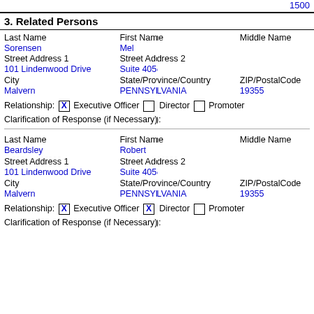1500
3. Related Persons
| Last Name | First Name | Middle Name |
| --- | --- | --- |
| Sorensen | Mel |  |
| Street Address 1 | Street Address 2 |  |
| 101 Lindenwood Drive | Suite 405 |  |
| City | State/Province/Country | ZIP/PostalCode |
| Malvern | PENNSYLVANIA | 19355 |
Relationship: [X] Executive Officer [ ] Director [ ] Promoter
Clarification of Response (if Necessary):
| Last Name | First Name | Middle Name |
| --- | --- | --- |
| Beardsley | Robert |  |
| Street Address 1 | Street Address 2 |  |
| 101 Lindenwood Drive | Suite 405 |  |
| City | State/Province/Country | ZIP/PostalCode |
| Malvern | PENNSYLVANIA | 19355 |
Relationship: [X] Executive Officer [X] Director [ ] Promoter
Clarification of Response (if Necessary):